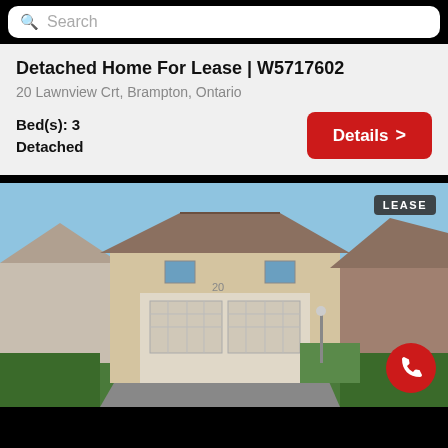Search
Detached Home For Lease | W5717602
20 Lawnview Crt, Brampton, Ontario
Bed(s): 3
Detached
Details >
[Figure (photo): Exterior photo of a detached home with double garage door, brick facade, blue sky background, LEASE badge in top right corner, red call button in bottom right]